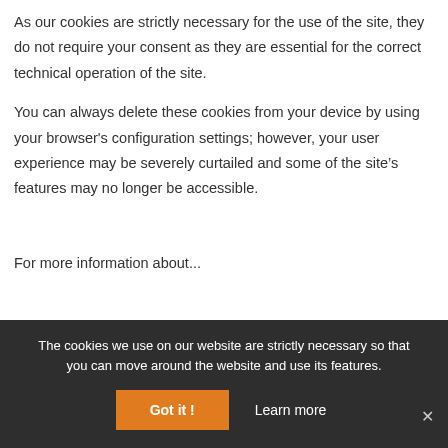As our cookies are strictly necessary for the use of the site, they do not require your consent as they are essential for the correct technical operation of the site.
You can always delete these cookies from your device by using your browser's configuration settings; however, your user experience may be severely curtailed and some of the site's features may no longer be accessible.
For more information about...
The cookies we use on our website are strictly necessary so that you can move around the website and use its features.
Got it !
Learn more